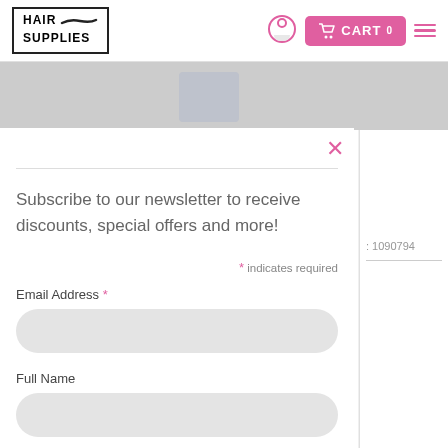[Figure (logo): Hair Supplies logo with brush stroke in bordered box]
[Figure (infographic): Navigation icons: bell/account icon, pink cart button with CART 0, hamburger menu]
Subscribe to our newsletter to receive discounts, special offers and more!
* indicates required
Email Address *
Full Name
SUBSCRIBE